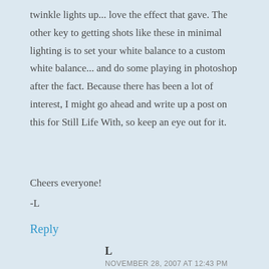twinkle lights up... love the effect that gave. The other key to getting shots like these in minimal lighting is to set your white balance to a custom white balance... and do some playing in photoshop after the fact. Because there has been a lot of interest, I might go ahead and write up a post on this for Still Life With, so keep an eye out for it.
Cheers everyone!
-L
Reply
L
NOVEMBER 28, 2007 AT 12:43 PM